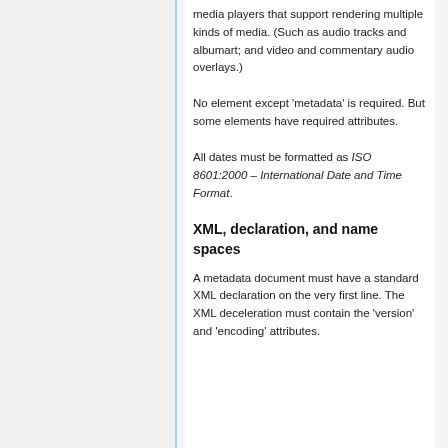media players that support rendering multiple kinds of media. (Such as audio tracks and albumart; and video and commentary audio overlays.)
No element except 'metadata' is required. But some elements have required attributes.
All dates must be formatted as ISO 8601:2000 – International Date and Time Format.
XML, declaration, and name spaces
A metadata document must have a standard XML declaration on the very first line. The XML deceleration must contain the 'version' and 'encoding' attributes.